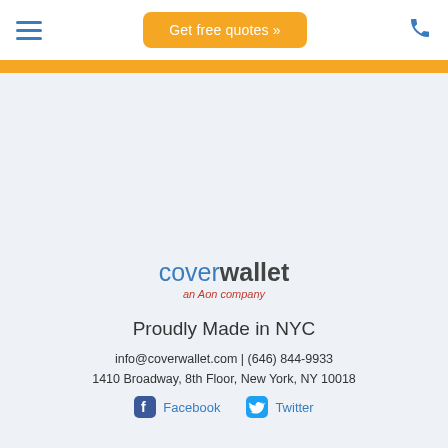Get free quotes »
[Figure (logo): CoverWallet - an Aon company logo]
Proudly Made in NYC
info@coverwallet.com | (646) 844-9933
1410 Broadway, 8th Floor, New York, NY 10018
Facebook   Twitter